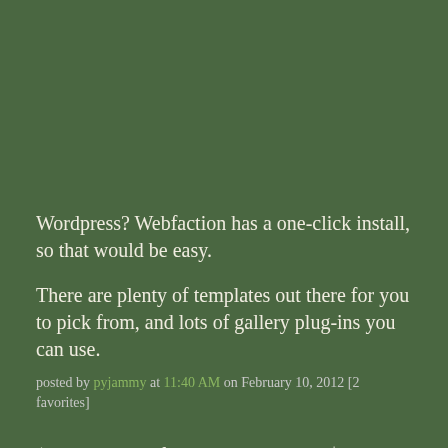Wordpress? Webfaction has a one-click install, so that would be easy.
There are plenty of templates out there for you to pick from, and lots of gallery plug-ins you can use.
posted by pyjammy at 11:40 AM on February 10, 2012 [2 favorites]
(one example of a theme is here. it's $89, but there are plenty of free themes out there too.)